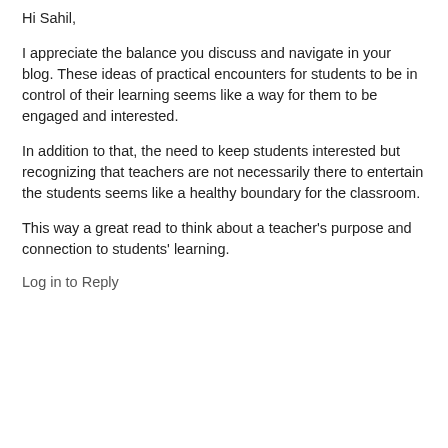Hi Sahil,
I appreciate the balance you discuss and navigate in your blog. These ideas of practical encounters for students to be in control of their learning seems like a way for them to be engaged and interested.
In addition to that, the need to keep students interested but recognizing that teachers are not necessarily there to entertain the students seems like a healthy boundary for the classroom.
This way a great read to think about a teacher's purpose and connection to students' learning.
Log in to Reply